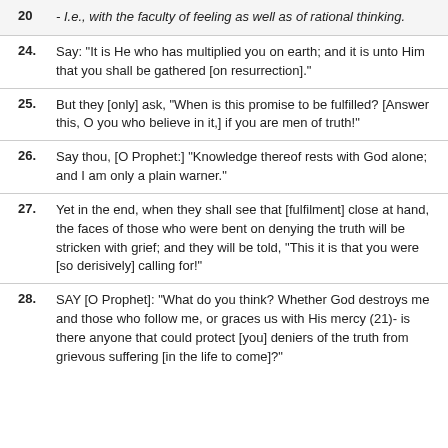20 - I.e., with the faculty of feeling as well as of rational thinking.
24. Say: "It is He who has multiplied you on earth; and it is unto Him that you shall be gathered [on resurrection]."
25. But they [only] ask, "When is this promise to be fulfilled? [Answer this, O you who believe in it,] if you are men of truth!"
26. Say thou, [O Prophet:] "Knowledge thereof rests with God alone; and I am only a plain warner."
27. Yet in the end, when they shall see that [fulfilment] close at hand, the faces of those who were bent on denying the truth will be stricken with grief; and they will be told, "This it is that you were [so derisively] calling for!"
28. SAY [O Prophet]: "What do you think? Whether God destroys me and those who follow me, or graces us with His mercy (21)- is there anyone that could protect [you] deniers of the truth from grievous suffering [in the life to come]?"